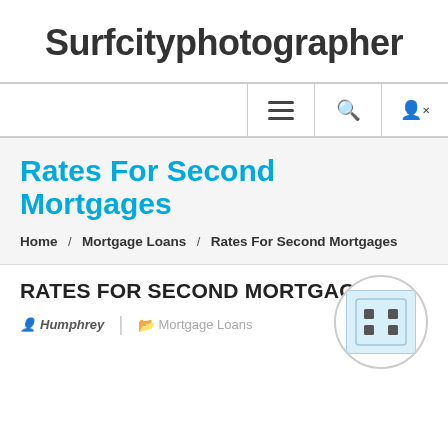Surfcityphotographer
Rates For Second Mortgages
Home / Mortgage Loans / Rates For Second Mortgages
RATES FOR SECOND MORTGAGES
Humphrey | Mortgage Loans